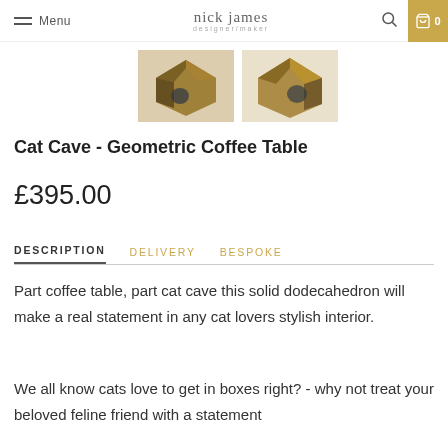Menu | nick james designer/maker | Search | Cart 0
[Figure (photo): Two thumbnail photos of a geometric walnut dodecahedron cat cave/coffee table from different angles]
Cat Cave - Geometric Coffee Table
£395.00
DESCRIPTION | DELIVERY | BESPOKE
Part coffee table, part cat cave this solid dodecahedron will make a real statement in any cat lovers stylish interior.
We all know cats love to get in boxes right? - why not treat your beloved feline friend with a statement